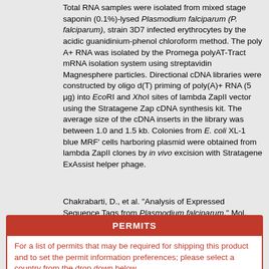Total RNA samples were isolated from mixed stage saponin (0.1%)-lysed Plasmodium falciparum (P. falciparum), strain 3D7 infected erythrocytes by the acidic guanidinium-phenol chloroform method. The poly A+ RNA was isolated by the Promega polyAT-Tract mRNA isolation system using streptavidin Magnesphere particles. Directional cDNA libraries were constructed by oligo d(T) priming of poly(A)+ RNA (5 µg) into EcoRI and XhoI sites of lambda ZapII vector using the Stratagene Zap cDNA synthesis kit. The average size of the cDNA inserts in the library was between 1.0 and 1.5 kb. Colonies from E. coli XL-1 blue MRF' cells harboring plasmid were obtained from lambda ZapII clones by in vivo excision with Stratagene ExAssist helper phage.
Chakrabarti, D., et al. "Analysis of Expressed Sequence Tags from Plasmodium falciparum." Mol. Biochem. Parasitol. 66 (1994): 97-104. PubMed: 7984191.
Citations: Acknowledgment for publications should read "The following reagent was obtained through BEI Resources, NIAID, NIH: Plasmodium falciparum, Strain 3D7, Asynchronous cDNA Library, MRA-299, contributed by Debopam Chakrabarti."
PERMITS
For a list of permits that may be required for shipping this product and to set the permit information preferences; please select a country from the drop down below.